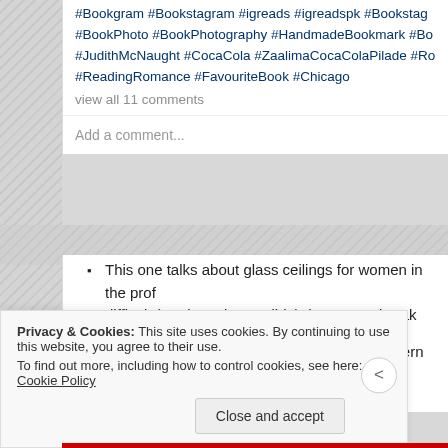#Bookgram #Bookstagram #igreads #igreadspk #Bookstagram #BookPhoto #BookPhotography #HandmadeBookmark #Boo #JudithMcNaught #CocaCola #ZaalimaCocaColaPilade #Ro #ReadingRomance #FavouriteBook #Chicago
view all 11 comments
Add a comment...
This one talks about glass ceilings for women in the prof difficult (read, not impossible) they are to break
It talks about how our genuine love and concern can actu we love (a perfect example for us desis)
Privacy & Cookies: This site uses cookies. By continuing to use this website, you agree to their use. To find out more, including how to control cookies, see here: Cookie Policy
Close and accept